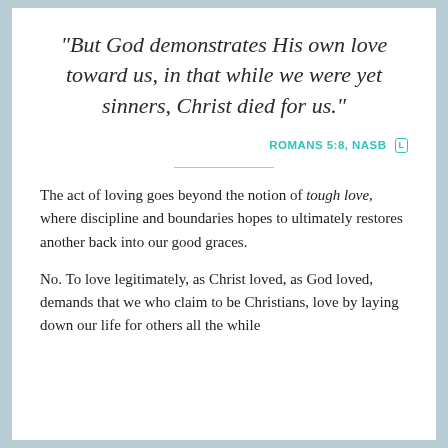“But God demonstrates His own love toward us, in that while we were yet sinners, Christ died for us.”
ROMANS 5:8, NASB Ⓛ
The act of loving goes beyond the notion of tough love, where discipline and boundaries hopes to ultimately restores another back into our good graces.
No. To love legitimately, as Christ loved, as God loved, demands that we who claim to be Christians, love by laying down our life for others all the while